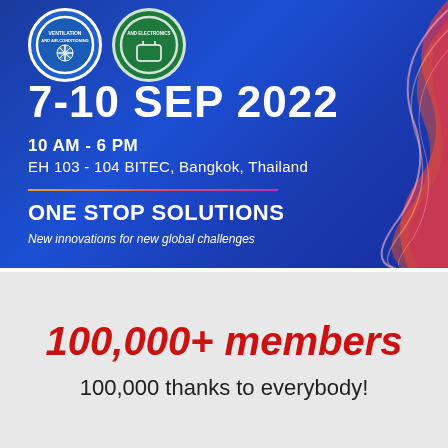[Figure (illustration): Event banner with dark blue background, two circular logos at top, decorative red/pink swirl on right side. Text shows event date 7-10 SEP 2022, time 10 AM - 6 PM, location EH 103 - 104 BITEC, Bangkok, Thailand, tagline ONE STOP SOLUTIONS, New innovations for new global challenges]
7-10 SEP 2022
10 AM - 6 PM
EH 103 - 104 BITEC, Bangkok, Thailand
ONE STOP SOLUTIONS
New innovations for new global challenges
100,000+ members
100,000 thanks to everybody!